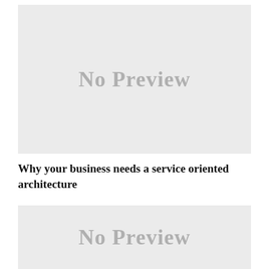[Figure (other): No Preview placeholder image box (top)]
Why your business needs a service oriented architecture
[Figure (other): No Preview placeholder image box (bottom)]